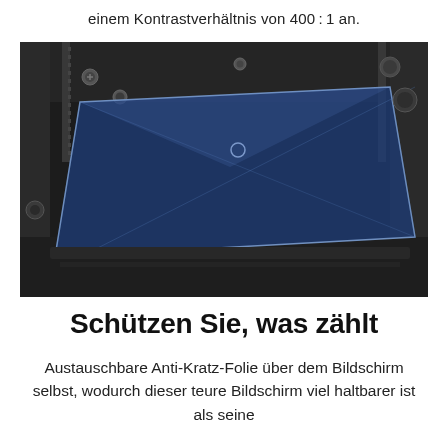einem Kontrastverhältnis von 400: 1 an.
[Figure (photo): A blue-tinted transparent protective screen/film sheet laid on a dark mechanical frame or printer bed, with metal screws, rails, and components visible in the background.]
Schützen Sie, was zählt
Austauschbare Anti-Kratz-Folie über dem Bildschirm selbst, wodurch dieser teure Bildschirm viel haltbarer ist als seine